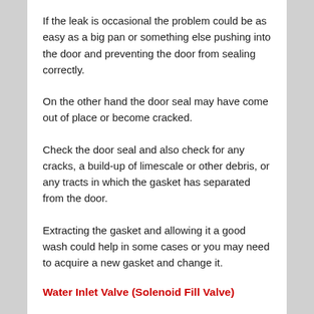If the leak is occasional the problem could be as easy as a big pan or something else pushing into the door and preventing the door from sealing correctly.
On the other hand the door seal may have come out of place or become cracked.
Check the door seal and also check for any cracks, a build-up of limescale or other debris, or any tracts in which the gasket has separated from the door.
Extracting the gasket and allowing it a good wash could help in some cases or you may need to acquire a new gasket and change it.
Water Inlet Valve (Solenoid Fill Valve)
The fill valve can be another commonplace